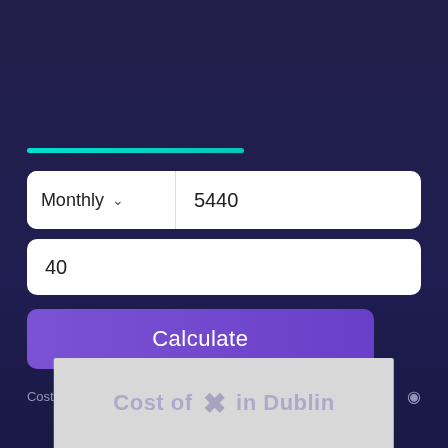[Figure (screenshot): Progress bar in teal/cyan color, approximately 55% filled, on dark purple background]
Monthly  ∨   5440
40
Calculate
Cost of living in Dublin
No compatible source was found for this media.
Cost of living in Dublin